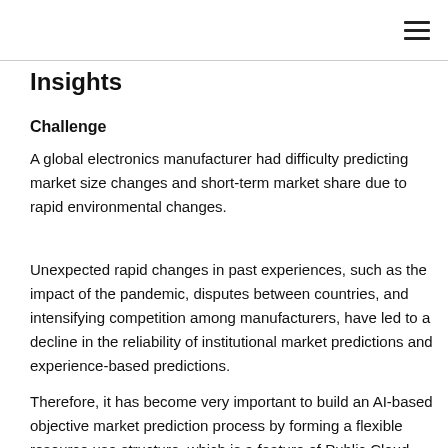Insights
Challenge
A global electronics manufacturer had difficulty predicting market size changes and short-term market share due to rapid environmental changes.
Unexpected rapid changes in past experiences, such as the impact of the pandemic, disputes between countries, and intensifying competition among manufacturers, have led to a decline in the reliability of institutional market predictions and experience-based predictions.
Therefore, it has become very important to build an AI-based objective market prediction process by forming a flexible resource use structure, which is a feature of Public Cloud, and a